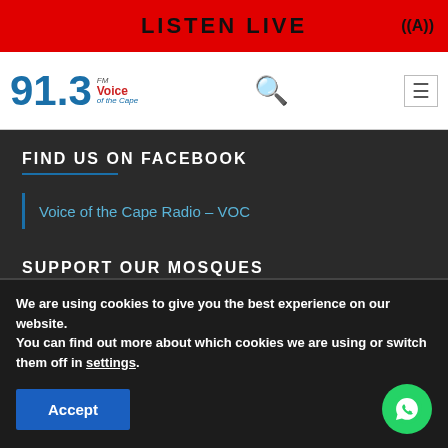LISTEN LIVE
[Figure (logo): 91.3 FM Voice of the Cape radio station logo]
FIND US ON FACEBOOK
Voice of the Cape Radio – VOC
SUPPORT OUR MOSQUES
Masjids 2020 – Bank Details
We are using cookies to give you the best experience on our website.
You can find out more about which cookies we are using or switch them off in settings.
Accept